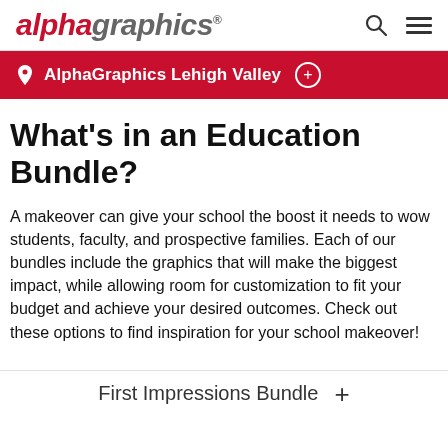AlphaGraphics (logo) | search | menu
AlphaGraphics Lehigh Valley
What's in an Education Bundle?
A makeover can give your school the boost it needs to wow students, faculty, and prospective families. Each of our bundles include the graphics that will make the biggest impact, while allowing room for customization to fit your budget and achieve your desired outcomes. Check out these options to find inspiration for your school makeover!
First Impressions Bundle